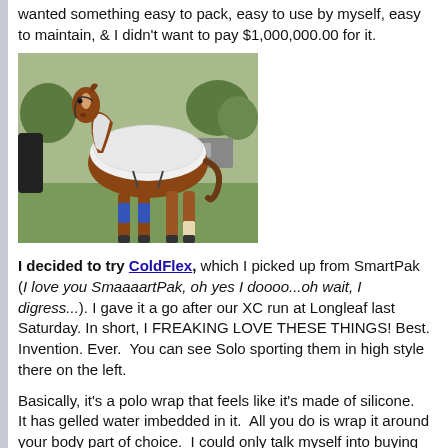wanted something easy to pack, easy to use by myself, easy to maintain, & I didn't want to pay $1,000,000.00 for it.
[Figure (photo): A brown and white horse wearing a white blanket/sheet and blue leg wraps, standing on grass at what appears to be an equestrian event.]
I decided to try ColdFlex, which I picked up from SmartPak (I love you SmaaaartPak, oh yes I doooo...oh wait, I digress...). I gave it a go after our XC run at Longleaf last Saturday. In short, I FREAKING LOVE THESE THINGS! Best. Invention. Ever. You can see Solo sporting them in high style there on the left.
Basically, it's a polo wrap that feels like it's made of silicone. It has gelled water imbedded in it. All you do is wrap it around your body part of choice. I could only talk myself into buying two to start out, so after much anguished deliberation, I decided to wrap front legs as they take the brunt of jumping impacts.
Once you wrap, you put a turn of vetwrap around the loose end – the gel wrap sticks to itself sort of, but it's not very secure, the